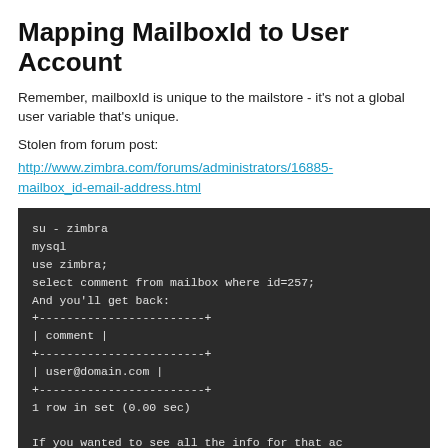Mapping MailboxId to User Account
Remember, mailboxId is unique to the mailstore - it's not a global user variable that's unique.
Stolen from forum post:
http://www.zimbra.com/forums/administrators/16885-mailbox_id-email-address.html
[Figure (screenshot): Dark terminal/code block showing MySQL commands: su - zimbra, mysql, use zimbra;, select comment from mailbox where id=257;, And you'll get back:, ASCII table with comment header and user@domain.com value, 1 row in set (0.00 sec), If you wanted to see all the info for that ac]